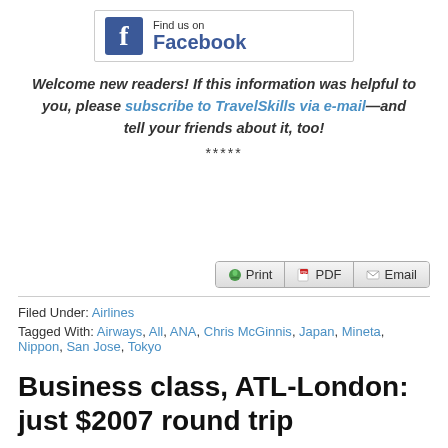[Figure (logo): Facebook 'Find us on Facebook' banner button with blue Facebook icon and text]
Welcome new readers! If this information was helpful to you, please subscribe to TravelSkills via e-mail—and tell your friends about it, too!
*****
[Figure (other): Print, PDF, and Email action buttons]
Filed Under: Airlines
Tagged With: Airways, All, ANA, Chris McGinnis, Japan, Mineta, Nippon, San Jose, Tokyo
Business class, ATL-London: just $2007 round trip